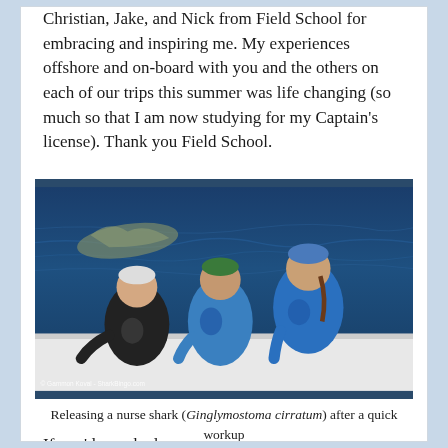Christian, Jake, and Nick from Field School for embracing and inspiring me. My experiences offshore and on-board with you and the others on each of our trips this summer was life changing (so much so that I am now studying for my Captain's license). Thank you Field School.
[Figure (photo): Three people leaning over the side of a boat releasing a nurse shark into deep blue ocean water. Two people wear blue shirts, one wears a black shirt. All wear caps. Photo credit: © Gammon Koval - SharkBingo.com]
Releasing a nurse shark (Ginglymostoma cirratum) after a quick workup
If you'd ever had any...